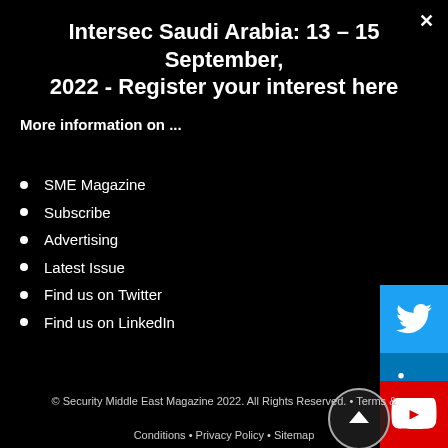Intersec Saudi Arabia: 13 – 15 September, 2022 - Register your interest here
More information on ...
SME Magazine
Subscribe
Advertising
Latest Issue
Find us on Twitter
Find us on LinkedIn
[Figure (logo): Twitter bird icon on cyan/blue background]
[Figure (logo): LinkedIn 'in' icon on blue background]
[Figure (logo): YouTube logo on red background]
[Figure (illustration): Scroll-to-top button: circular arrow icon]
© Security Middle East Magazine 2022. All Rights Reserved. • Terms & Conditions • Privacy Policy • Sitemap